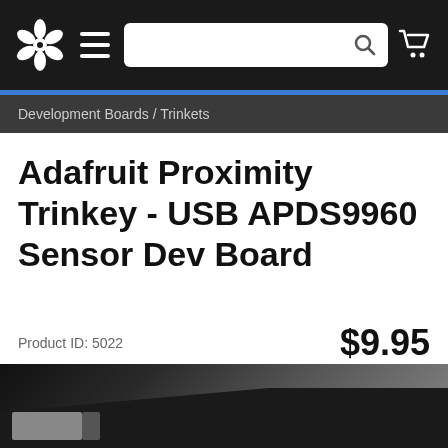[Figure (screenshot): Adafruit website navigation bar with logo, hamburger menu, search bar, and cart icon on dark background]
Development Boards / Trinkets
Adafruit Proximity Trinkey - USB APDS9960 Sensor Dev Board
Product ID: 5022
$9.95
[Figure (photo): Close-up photo of the Adafruit Proximity Trinkey board in dark tones]